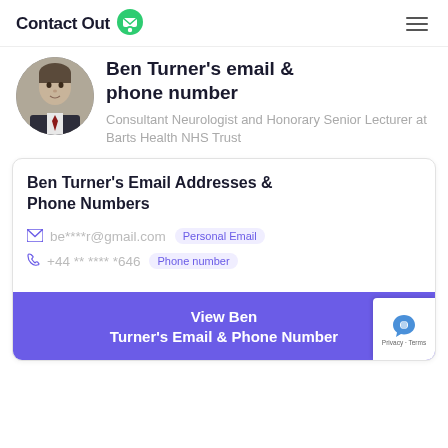ContactOut
Ben Turner's email & phone number
Consultant Neurologist and Honorary Senior Lecturer at Barts Health NHS Trust
Ben Turner's Email Addresses & Phone Numbers
be****r@gmail.com  Personal Email
+44 ** **** *646  Phone number
View Ben Turner's Email & Phone Number